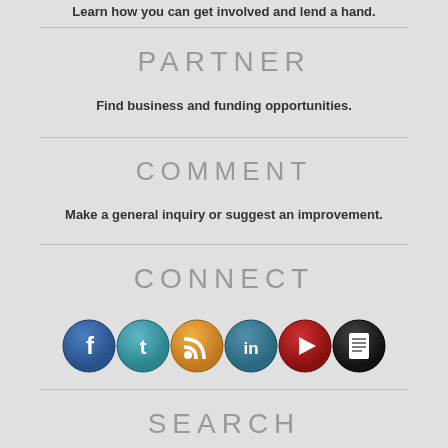Learn how you can get involved and lend a hand.
PARTNER
Find business and funding opportunities.
COMMENT
Make a general inquiry or suggest an improvement.
CONNECT
[Figure (infographic): Six social media icon buttons: Facebook (blue), Twitter (teal), RSS (orange), LinkedIn (teal-blue), YouTube (red play button), and a document/news icon (black)]
SEARCH